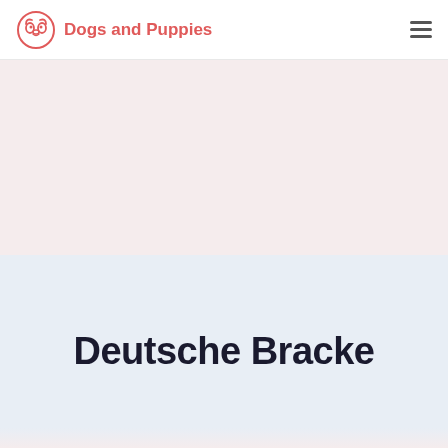Dogs and Puppies
Deutsche Bracke